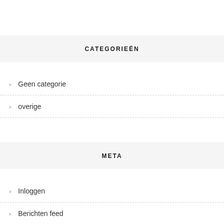CATEGORIEËN
Geen categorie
overige
META
Inloggen
Berichten feed